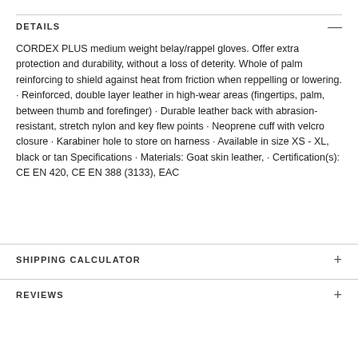DETAILS
CORDEX PLUS medium weight belay/rappel gloves. Offer extra protection and durability, without a loss of deterity. Whole of palm reinforcing to shield against heat from friction when reppelling or lowering. · Reinforced, double layer leather in high-wear areas (fingertips, palm, between thumb and forefinger) · Durable leather back with abrasion-resistant, stretch nylon and key flew points · Neoprene cuff with velcro closure · Karabiner hole to store on harness · Available in size XS - XL, black or tan Specifications · Materials: Goat skin leather, · Certification(s): CE EN 420, CE EN 388 (3133), EAC
SHIPPING CALCULATOR
REVIEWS